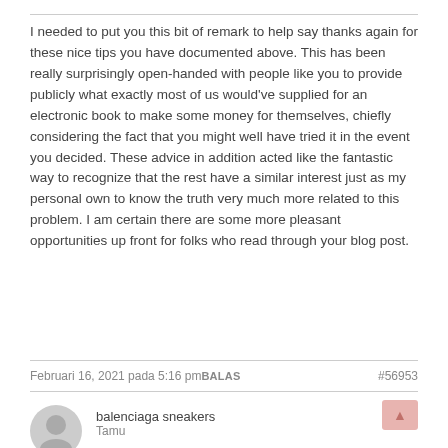I needed to put you this bit of remark to help say thanks again for these nice tips you have documented above. This has been really surprisingly open-handed with people like you to provide publicly what exactly most of us would've supplied for an electronic book to make some money for themselves, chiefly considering the fact that you might well have tried it in the event you decided. These advice in addition acted like the fantastic way to recognize that the rest have a similar interest just as my personal own to know the truth very much more related to this problem. I am certain there are some more pleasant opportunities up front for folks who read through your blog post.
Februari 16, 2021 pada 5:16 pmBALAS    #56953
balenciaga sneakers
Tamu